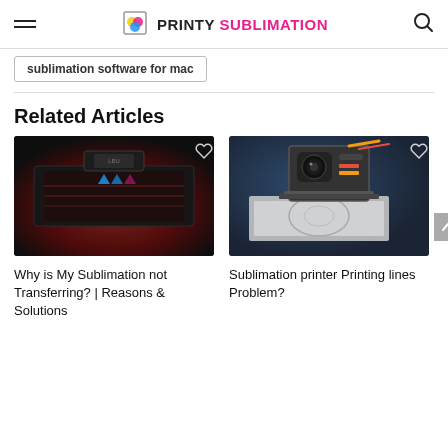Printy Sublimation
sublimation software for mac
Related Articles
[Figure (photo): Close-up of a sublimation printing machine with red glowing light effects on a dark background]
[Figure (photo): 3D printer or sublimation printer close-up showing the print head mechanism with orange cables on a white surface]
Why is My Sublimation not Transferring? | Reasons & Solutions
Sublimation printer Printing lines Problem?